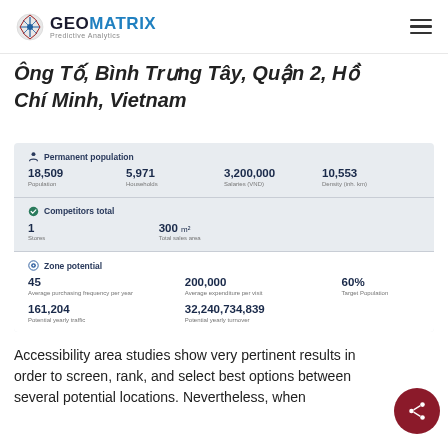GEOMATRIX Predictive Analytics
Ông Tố, Bình Trưng Tây, Quận 2, Hồ Chí Minh, Vietnam
| Permanent population |  |  |  |
| 18,509 Population | 5,971 Households | 3,200,000 Salaries (VND) | 10,553 Density (inh. km) |
| Competitors total |  |  |  |
| 1 Stores | 300 m² Total sales area |  |  |
| Zone potential |  |  |  |
| 45 Average purchasing frequency per year | 200,000 Average expenditure per visit | 60% Target Population |  |
| 161,204 Potential yearly traffic | 32,240,734,839 Potential yearly turnover |  |  |
Accessibility area studies show very pertinent results in order to screen, rank, and select best options between several potential locations. Nevertheless, when